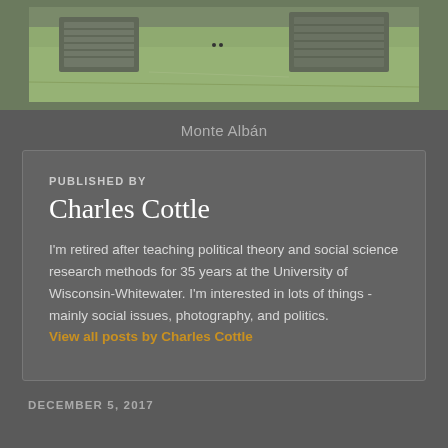[Figure (photo): Aerial photograph of Monte Albán archaeological site showing grassy landscape with stone structures]
Monte Albán
PUBLISHED BY
Charles Cottle
I'm retired after teaching political theory and social science research methods for 35 years at the University of Wisconsin-Whitewater. I'm interested in lots of things - mainly social issues, photography, and politics.
View all posts by Charles Cottle
DECEMBER 5, 2017